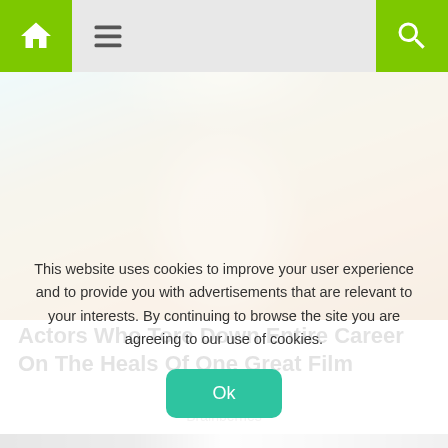Navigation bar with home icon, menu icon, and search icon
[Figure (photo): Close-up photo of a blonde woman with blue eyes against a teal and orange blurred background]
Actors Who Tore Down Entire Career On The Heals Of One Great Film
Brainberries
[Figure (photo): Partial photo strip showing people in suits and a blonde woman, partially obscured by cookie consent overlay]
This website uses cookies to improve your user experience and to provide you with advertisements that are relevant to your interests. By continuing to browse the site you are agreeing to our use of cookies.